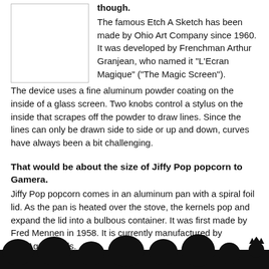[Figure (illustration): Empty white rectangle with a thin border, representing an image placeholder on the top-left of the page]
though.
The famous Etch A Sketch has been made by Ohio Art Company since 1960. It was developed by Frenchman Arthur Granjean, who named it "L'Ecran Magique" ("The Magic Screen"). The device uses a fine aluminum powder coating on the inside of a glass screen. Two knobs control a stylus on the inside that scrapes off the powder to draw lines. Since the lines can only be drawn side to side or up and down, curves have always been a bit challenging.
That would be about the size of Jiffy Pop popcorn to Gamera.
Jiffy Pop popcorn comes in an aluminum pan with a spiral foil lid. As the pan is heated over the stove, the kernels pop and expand the lid into a bulbous container. It was first made by Fred Mennen in 1958. It is currently manufactured by ConAgra Foods.
Kenny the turtle boy.
[Figure (illustration): Black silhouette of an audience row with heads and shoulders of people, spanning the full width of the bottom of the page. On the right side a small figure with a puppet or crown shape is visible.]